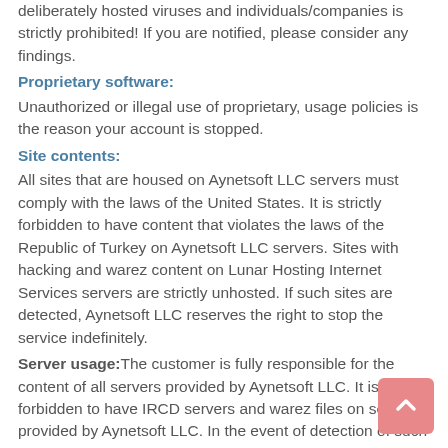deliberately hosted viruses and individuals/companies is strictly prohibited! If you are notified, please consider any findings.
Proprietary software:
Unauthorized or illegal use of proprietary, usage policies is the reason your account is stopped.
Site contents:
All sites that are housed on Aynetsoft LLC servers must comply with the laws of the United States. It is strictly forbidden to have content that violates the laws of the Republic of Turkey on Aynetsoft LLC servers. Sites with hacking and warez content on Lunar Hosting Internet Services servers are strictly unhosted. If such sites are detected, Aynetsoft LLC reserves the right to stop the service indefinitely.
Server usage: The customer is fully responsible for the content of all servers provided by Aynetsoft LLC. It is strictly forbidden to have IRCD servers and warez files on servers provided by Aynetsoft LLC. In the event of detection of such systems or files, Aynetsoft LLC reserves